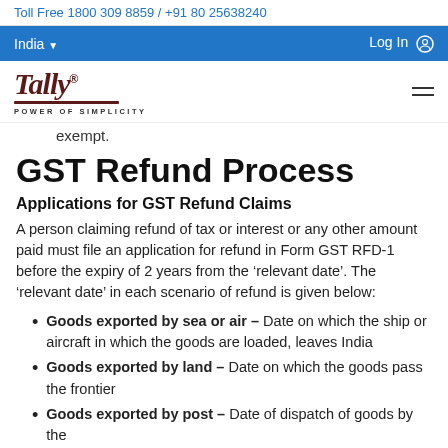Toll Free 1800 309 8859 / +91 80 25638240
India   Log In
[Figure (logo): Tally logo with tagline POWER OF SIMPLICITY]
exempt.
GST Refund Process
Applications for GST Refund Claims
A person claiming refund of tax or interest or any other amount paid must file an application for refund in Form GST RFD-1 before the expiry of 2 years from the ‘relevant date’. The ‘relevant date’ in each scenario of refund is given below:
Goods exported by sea or air – Date on which the ship or aircraft in which the goods are loaded, leaves India
Goods exported by land – Date on which the goods pass the frontier
Goods exported by post – Date of dispatch of goods by the